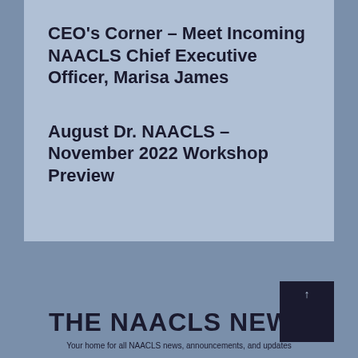CEO's Corner – Meet Incoming NAACLS Chief Executive Officer, Marisa James
August Dr. NAACLS – November 2022 Workshop Preview
THE NAACLS NEWS
Your home for all NAACLS news, announcements, and updates